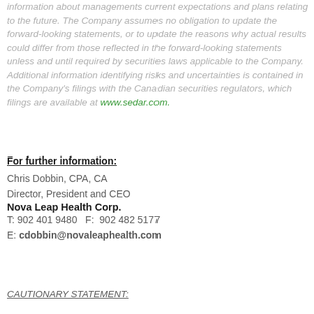information about managements current expectations and plans relating to the future. The Company assumes no obligation to update the forward-looking statements, or to update the reasons why actual results could differ from those reflected in the forward-looking statements unless and until required by securities laws applicable to the Company. Additional information identifying risks and uncertainties is contained in the Company's filings with the Canadian securities regulators, which filings are available at www.sedar.com.
For further information:
Chris Dobbin, CPA, CA
Director, President and CEO
Nova Leap Health Corp.
T: 902 401 9480   F:  902 482 5177
E: cdobbin@novaleaphealth.com
CAUTIONARY STATEMENT: